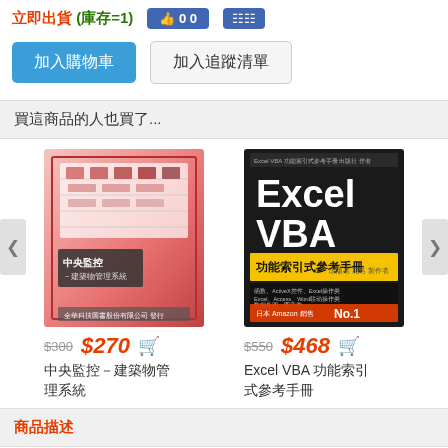立即出貨 (庫存=1)
加入購物車  加入追蹤清單
買這商品的人也買了...
[Figure (illustration): Book cover: 中央監控－建築物管理系統, pink/red gradient cover with building automation imagery]
$300 $270  中央監控－建築物管理系統
[Figure (illustration): Book cover: Excel VBA 功能索引式參考手冊, black and yellow cover, Japan Amazon No.1]
$550 $468  Excel VBA 功能索引式參考手冊
商品描述